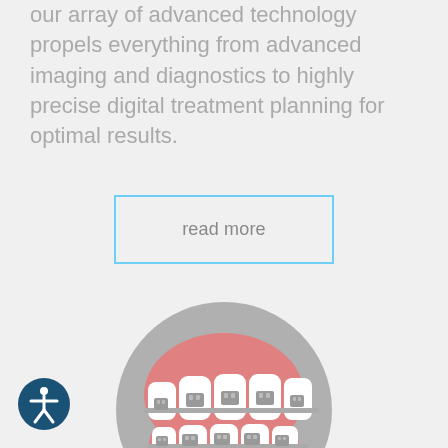our array of advanced technology propels everything from advanced imaging and diagnostics to highly precise digital treatment planning for optimal results.
read more
[Figure (illustration): Circular grey icon showing a set of teeth with orthodontic braces, against a pink/red background representing gums, all within a large grey circle.]
[Figure (illustration): Accessibility icon: circular dark blue button with white person figure (universal accessibility symbol).]